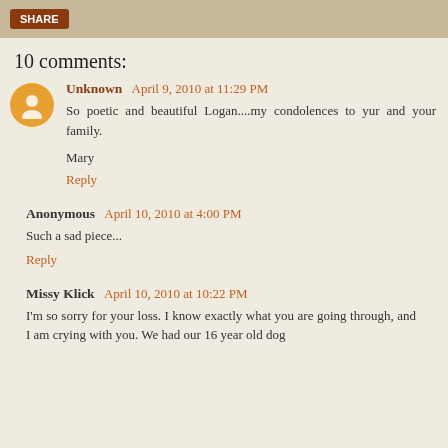10 comments:
Unknown  April 9, 2010 at 11:29 PM
So poetic and beautiful Logan....my condolences to yur and your family.
Mary
Reply
Anonymous  April 10, 2010 at 4:00 PM
Such a sad piece...
Reply
Missy Klick  April 10, 2010 at 10:22 PM
I'm so sorry for your loss. I know exactly what you are going through, and I am crying with you. We had our 16 year old dog